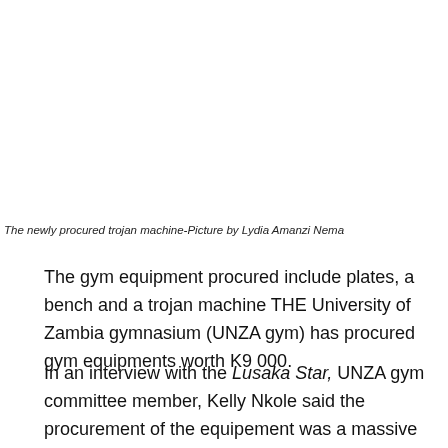The newly procured trojan machine-Picture by Lydia Amanzi Nema
The gym equipment procured include plates, a bench and a trojan machine THE University of Zambia gymnasium (UNZA gym) has procured gym equipments worth K9 000.
In an interview with the Lusaka Star, UNZA gym committee member, Kelly Nkole said the procurement of the equipement was a massive step in the development of the gymnasium.